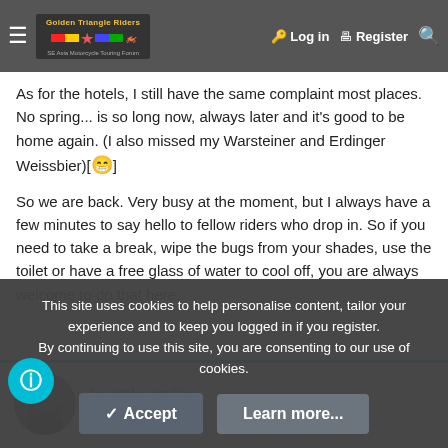Golden Triangle Riders — SE Asia Motorcycle Touring Forum | Log in | Register
As for the hotels, I still have the same complaint most places. No spring ... is so long now always later and it's good to be home again. (I also missed my Warsteiner and Erdinger Weissbier)[😁]
So we are back. Very busy at the moment, but I always have a few minutes to say hello to fellow riders who drop in. So if you need to take a break, wipe the bugs from your shades, use the toilet or have a free glass of water to cool off, you are always welcome to do that here.
beattheswiss
Ol'Timer
This site uses cookies to help personalise content, tailor your experience and to keep you logged in if you register.
By continuing to use this site, you are consenting to our use of cookies.